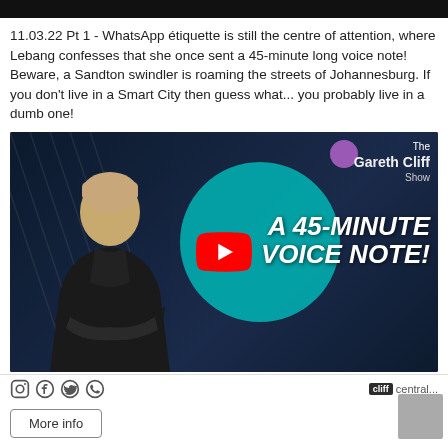[Figure (screenshot): Dark top navigation bar (cropped at top of page)]
11.03.22 Pt 1 - WhatsApp étiquette is still the centre of attention, where Lebang confesses that she once sent a 45-minute long voice note! Beware, a Sandton swindler is roaming the streets of Johannesburg. If you don't live in a Smart City then guess what... you probably live in a dumb one!
[Figure (screenshot): YouTube video thumbnail for The Gareth Cliff Show featuring a man in a black jacket with text 'A 45-MINUTE VOICE NOTE!' overlaid on a dark navy background with teal circle design elements and a YouTube play button]
[Figure (screenshot): Footer bar with social media icons (Instagram, Facebook, Twitter, WhatsApp) and Cliff Central logo/branding]
More info